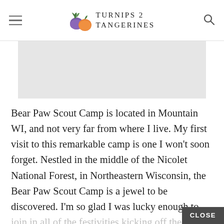TURNIPS 2 TANGERINES
[Figure (photo): Gray placeholder image block representing a photo on the blog page]
Bear Paw Scout Camp is located in Mountain WI, and not very far from where I live. My first visit to this remarkable camp is one I won't soon forget. Nestled in the middle of the Nicolet National Forest, in Northeastern Wisconsin, the Bear Paw Scout Camp is a jewel to be discovered. I'm so glad I was lucky enough to join in all of the festivities kicking off the 2014 Maple Syrup Season at the Bear Paw Sugar